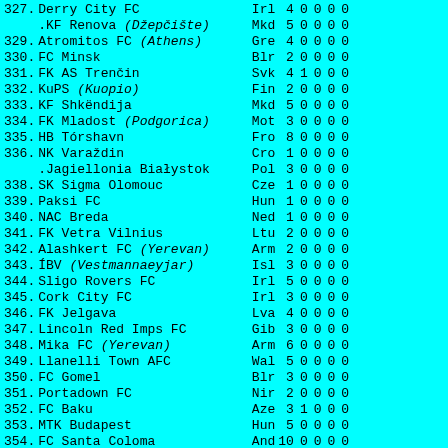| # | Club | Country | C1 | C2 | C3 | C4 | C5 |
| --- | --- | --- | --- | --- | --- | --- | --- |
| 327. | Derry City FC | Irl | 4 | 0 | 0 | 0 | 0 |
|  | .KF Renova (Džepčište) | Mkd | 5 | 0 | 0 | 0 | 0 |
| 329. | Atromitos FC (Athens) | Gre | 4 | 0 | 0 | 0 | 0 |
| 330. | FC Minsk | Blr | 2 | 0 | 0 | 0 | 0 |
| 331. | FK AS Trenčin | Svk | 4 | 1 | 0 | 0 | 0 |
| 332. | KuPS (Kuopio) | Fin | 2 | 0 | 0 | 0 | 0 |
| 333. | KF Shkëndija | Mkd | 5 | 0 | 0 | 0 | 0 |
| 334. | FK Mladost (Podgorica) | Mot | 3 | 0 | 0 | 0 | 0 |
| 335. | HB Tórshavn | Fro | 8 | 0 | 0 | 0 | 0 |
| 336. | NK Varaždin | Cro | 1 | 0 | 0 | 0 | 0 |
|  | .Jagiellonia Białystok | Pol | 3 | 0 | 0 | 0 | 0 |
| 338. | SK Sigma Olomouc | Cze | 1 | 0 | 0 | 0 | 0 |
| 339. | Paksi FC | Hun | 1 | 0 | 0 | 0 | 0 |
| 340. | NAC Breda | Ned | 1 | 0 | 0 | 0 | 0 |
| 341. | FK Vetra Vilnius | Ltu | 2 | 0 | 0 | 0 | 0 |
| 342. | Alashkert FC (Yerevan) | Arm | 2 | 0 | 0 | 0 | 0 |
| 343. | ÍBV (Vestmannaeyjar) | Isl | 3 | 0 | 0 | 0 | 0 |
| 344. | Sligo Rovers FC | Irl | 5 | 0 | 0 | 0 | 0 |
| 345. | Cork City FC | Irl | 3 | 0 | 0 | 0 | 0 |
| 346. | FK Jelgava | Lva | 4 | 0 | 0 | 0 | 0 |
| 347. | Lincoln Red Imps FC | Gib | 3 | 0 | 0 | 0 | 0 |
| 348. | Mika FC (Yerevan) | Arm | 6 | 0 | 0 | 0 | 0 |
| 349. | Llanelli Town AFC | Wal | 5 | 0 | 0 | 0 | 0 |
| 350. | FC Gomel | Blr | 3 | 0 | 0 | 0 | 0 |
| 351. | Portadown FC | Nir | 2 | 0 | 0 | 0 | 0 |
| 352. | FC Baku | Aze | 3 | 1 | 0 | 0 | 0 |
| 353. | MTK Budapest | Hun | 5 | 0 | 0 | 0 | 0 |
| 354. | FC Santa Coloma | And | 10 | 0 | 0 | 0 | 0 |
| 355. | Dyskobolia Grodzisk WLKP | Pol | 1 | 0 | 2 | 0 | 0 |
| 356. | Servette FC (Genève) | Sui | 1 | 0 | 0 | 0 | 0 |